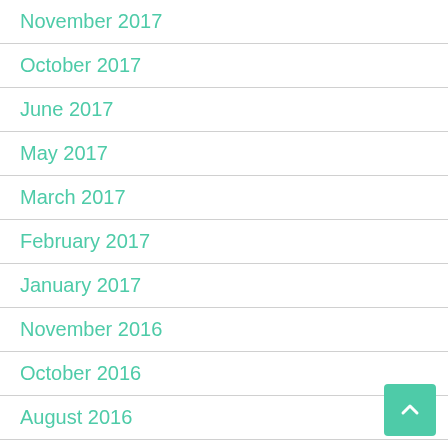November 2017
October 2017
June 2017
May 2017
March 2017
February 2017
January 2017
November 2016
October 2016
August 2016
July 2016
May 2016
April 2016